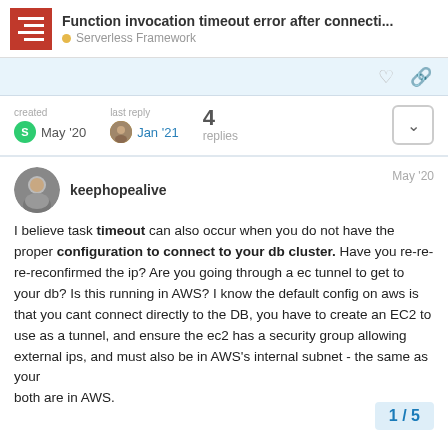Function invocation timeout error after connecti... | Serverless Framework
created May '20   last reply Jan '21   4 replies
keephopealive   May '20
I believe task timeout can also occur when you do not have the proper configuration to connect to your db cluster. Have you re-re-re-reconfirmed the ip? Are you going through a ec tunnel to get to your db? Is this running in AWS? I know the default config on aws is that you cant connect directly to the DB, you have to create an EC2 to use as a tunnel, and ensure the ec2 has a security group allowing external ips, and must also be in AWS's internal subnet - the same as your both are in AWS.
1 / 5